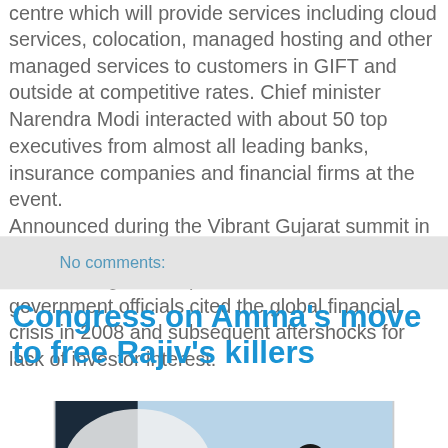centre which will provide services including cloud services, colocation, managed hosting and other managed services to customers in GIFT and outside at competitive rates. Chief minister Narendra Modi interacted with about 50 top executives from almost all leading banks, insurance companies and financial firms at the event. Announced during the Vibrant Gujarat summit in 2007, the GIFT city project was under criticism for not being able to pull in investors. State government officials cited the global financial crisis in 2008 and subsequent aftershocks for lack of investor interest.
No comments:
Congress on Amma's move to free Rajiv's killers
[Figure (illustration): A political cartoon/illustration showing figures including one labeled 'SC', appearing to depict a scene related to the article about Congress and Rajiv's killers.]